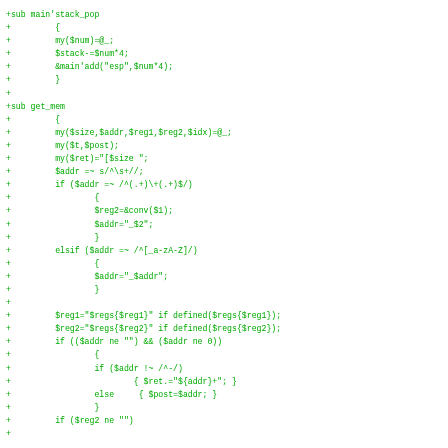[Figure (other): Perl source code diff showing stack_pop and get_mem subroutines with green monospace text on white background]